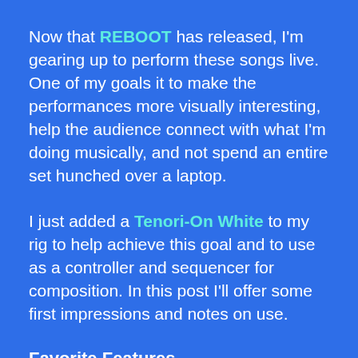Now that REBOOT has released, I'm gearing up to perform these songs live. One of my goals it to make the performances more visually interesting, help the audience connect with what I'm doing musically, and not spend an entire set hunched over a laptop.
I just added a Tenori-On White to my rig to help achieve this goal and to use as a controller and sequencer for composition. In this post I'll offer some first impressions and notes on use.
Favorite Features